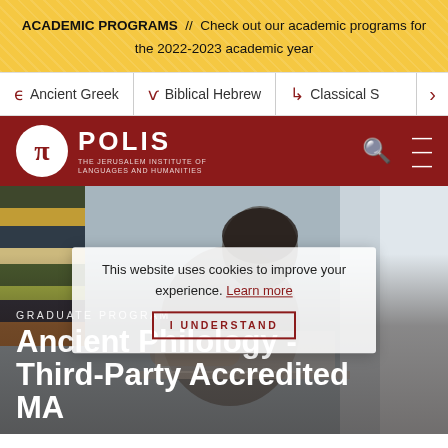ACADEMIC PROGRAMS // Check out our academic programs for the 2022-2023 academic year
Ancient Greek | Biblical Hebrew | Classical S >
[Figure (logo): Polis - The Jerusalem Institute of Languages and Humanities logo with pi symbol in white circle on dark red background]
[Figure (photo): Person studying at a desk with books in background, hero image for Graduate Program in Ancient Philology - Third-Party Accredited MA]
GRADUATE PROGRAM
Ancient Philology - Third-Party Accredited MA
This website uses cookies to improve your experience. Learn more
I UNDERSTAND